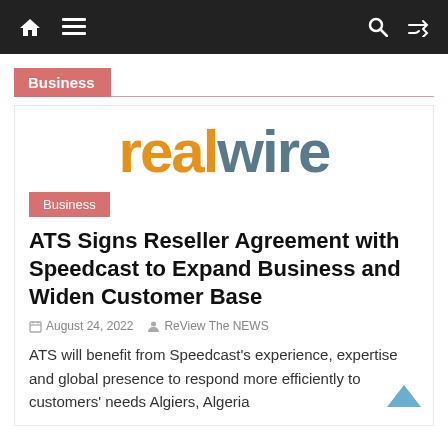Navigation bar with home, menu, search, and shuffle icons
Business
[Figure (logo): RealWire logo in orange and grey-blue text]
Business
ATS Signs Reseller Agreement with Speedcast to Expand Business and Widen Customer Base
August 24, 2022   ReView The NEWS
ATS will benefit from Speedcast's experience, expertise and global presence to respond more efficiently to customers' needs Algiers, Algeria